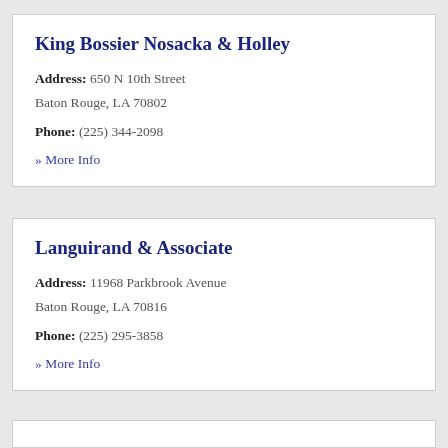King Bossier Nosacka & Holley
Address: 650 N 10th Street
Baton Rouge, LA 70802
Phone: (225) 344-2098
» More Info
Languirand & Associate
Address: 11968 Parkbrook Avenue
Baton Rouge, LA 70816
Phone: (225) 295-3858
» More Info